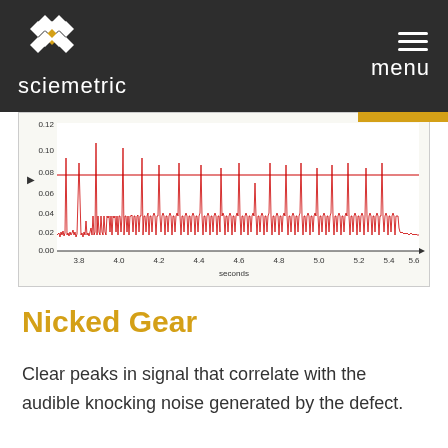sciemetric | menu
[Figure (continuous-plot): Time-domain waveform chart showing signal amplitude (y-axis: 0.00 to 0.12) vs time in seconds (x-axis: 3.8 to 5.8). Red signal with dense noise floor around 0.02 and recurring sharp peaks reaching 0.10-0.12, with a horizontal red threshold line around 0.08.]
Nicked Gear
Clear peaks in signal that correlate with the audible knocking noise generated by the defect.